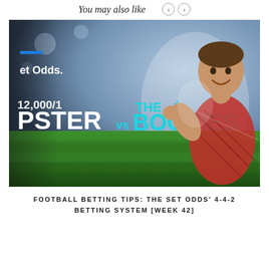You may also like
[Figure (photo): Thumbnail image for a football betting tips video. Dark stadium background with green grass field. Text overlay reads '12,000/1', 'PSTER vs THE BOOKIES' with cyan/teal colored text. A smiling man in a red plaid shirt stands on the right side of the image. Blue logo accent in upper left corner with text 'et Odds.']
FOOTBALL BETTING TIPS: THE SET ODDS' 4-4-2 BETTING SYSTEM [WEEK 42]